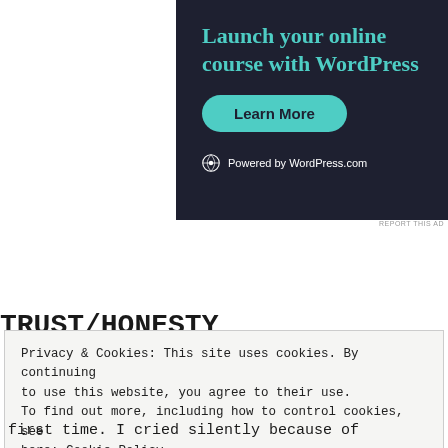[Figure (screenshot): WordPress.com advertisement banner with dark navy background. Large teal serif text reads 'Launch your online course with WordPress'. Below is a teal rounded button labeled 'Learn More'. At the bottom is a WordPress logo with text 'Powered by WordPress.com'.]
REPORT THIS AD
TRUST/HONESTY
Privacy & Cookies: This site uses cookies. By continuing to use this website, you agree to their use.
To find out more, including how to control cookies, see here: Cookie Policy

Close and accept
first time. I cried silently because of